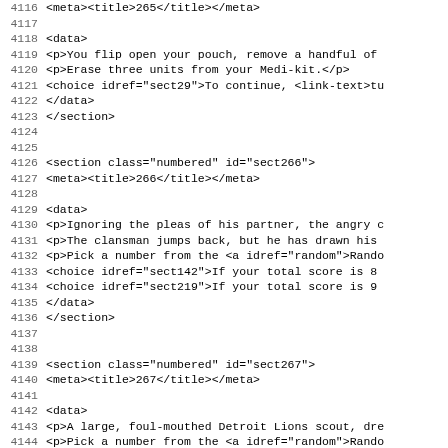4116    <meta><title>265</title></meta>
4117
4118    <data>
4119     <p>You flip open your pouch, remove a handful of
4120     <p>Erase three units from your Medi-kit.</p>
4121     <choice idref="sect29">To continue, <link-text>tu
4122    </data>
4123    </section>
4124
4125
4126    <section class="numbered" id="sect266">
4127     <meta><title>266</title></meta>
4128
4129    <data>
4130     <p>Ignoring the pleas of his partner, the angry c
4131     <p>The clansman jumps back, but he has drawn his
4132     <p>Pick a number from the <a idref="random">Rando
4133     <choice idref="sect142">If your total score is 8
4134     <choice idref="sect219">If your total score is 9
4135    </data>
4136    </section>
4137
4138
4139    <section class="numbered" id="sect267">
4140     <meta><title>267</title></meta>
4141
4142    <data>
4143     <p>A large, foul-mouthed Detroit Lions scout, dre
4144     <p>Pick a number from the <a idref="random">Rando
4145     <choice idref="sect328">If your total score is 8
4146     <choice idref="sect199">If your total score is 9
4147    </data>